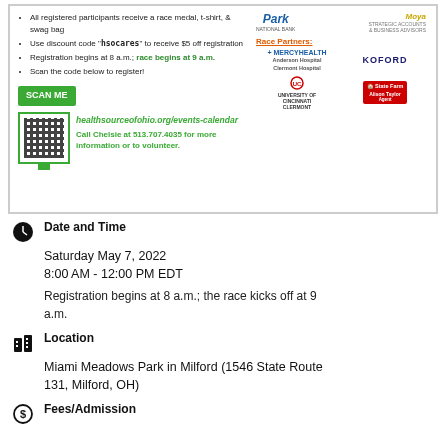[Figure (infographic): Event flyer for HealthSource of Ohio race. Left side lists bullet points: all registered participants receive a race medal, t-shirt, & swag bag; use discount code 'hsocares' to receive $5 off registration; registration begins at 8 a.m.; race begins at 9 a.m.; scan the code below to register. Includes green SCAN ME button, QR code, URL healthsourceofohio.org/events-calendar and call Chelsie at 513.707.4035. Right side shows Park National Bank, Moya, and race partners including MercyHealth, Koford, University of Cincinnati Clermont, State Farm Alison Taylor.]
Date and Time
Saturday May 7, 2022
8:00 AM - 12:00 PM EDT
Registration begins at 8 a.m.; the race kicks off at 9 a.m.
Location
Miami Meadows Park in Milford (1546 State Route 131, Milford, OH)
Fees/Admission